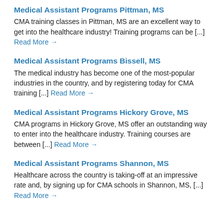Medical Assistant Programs Pittman, MS
CMA training classes in Pittman, MS are an excellent way to get into the healthcare industry! Training programs can be [...] Read More →
Medical Assistant Programs Bissell, MS
The medical industry has become one of the most-popular industries in the country, and by registering today for CMA training [...] Read More →
Medical Assistant Programs Hickory Grove, MS
CMA programs in Hickory Grove, MS offer an outstanding way to enter into the healthcare industry. Training courses are between [...] Read More →
Medical Assistant Programs Shannon, MS
Healthcare across the country is taking-off at an impressive rate and, by signing up for CMA schools in Shannon, MS, [...] Read More →